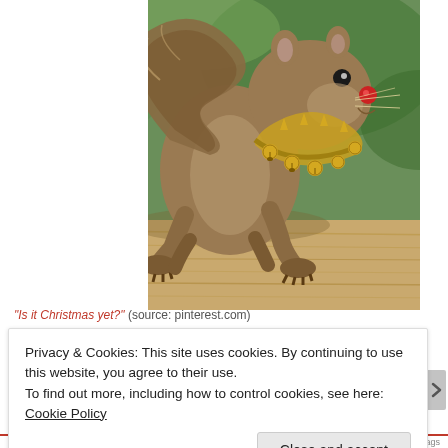[Figure (photo): A squirrel wearing a gold jingle bell collar and a red round dot on its nose (styled as Rudolph the Red-Nosed Reindeer), standing on a wooden plank/rail with a green blurred background.]
"Is it Christmas yet?" (source: pinterest.com)
Privacy & Cookies: This site uses cookies. By continuing to use this website, you agree to their use.
To find out more, including how to control cookies, see here: Cookie Policy
Close and accept